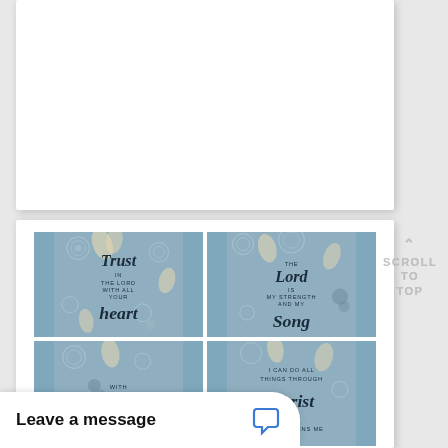[Figure (illustration): White card/panel area, mostly blank, top portion of page]
[Figure (illustration): Grid of four decorative scripture quote tiles with floral blue background. Top-left: 'Trust in the Lord with all your heart'. Top-right: 'The Lord is my strength and my Song'. Bottom-left: 'With...' (partially visible). Bottom-right: 'I can do all things through Christ who strengthens me' (partially visible).]
SCROLL TO TOP
Leave a message